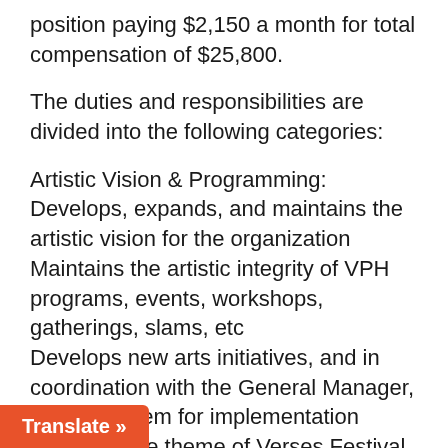position paying $2,150 a month for total compensation of $25,800.
The duties and responsibilities are divided into the following categories:
Artistic Vision & Programming:
Develops, expands, and maintains the artistic vision for the organization
Maintains the artistic integrity of VPH programs, events, workshops, gatherings, slams, etc
Develops new arts initiatives, and in coordination with the General Manager, prepares them for implementation
Develops the theme of Verses Festival of for the curation of the festival t programming stays in line